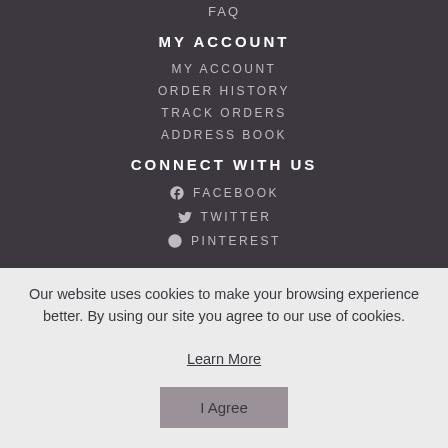FAQ
MY ACCOUNT
MY ACCOUNT
ORDER HISTORY
TRACK ORDERS
ADDRESS BOOK
CONNECT WITH US
FACEBOOK
TWITTER
PINTEREST
Our website uses cookies to make your browsing experience better. By using our site you agree to our use of cookies. Learn More
I Agree